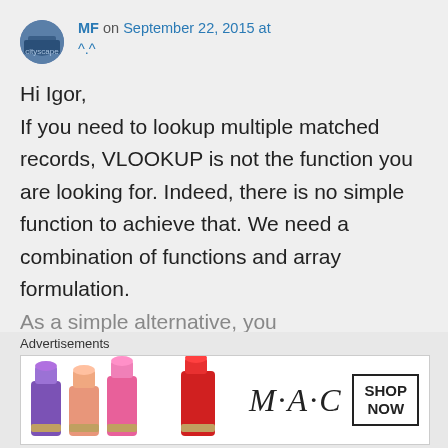MF on September 22, 2015 at ^.^
Hi Igor,
If you need to lookup multiple matched records, VLOOKUP is not the function you are looking for. Indeed, there is no simple function to achieve that. We need a combination of functions and array formulation.
As a simple alternative, you
Advertisements
[Figure (photo): MAC cosmetics advertisement banner showing lipsticks in purple, peach, and pink/red colors with MAC logo and SHOP NOW box]